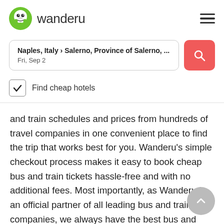wanderu
Naples, Italy › Salerno, Province of Salerno, ...
Fri, Sep 2
Find cheap hotels
and train schedules and prices from hundreds of travel companies in one convenient place to find the trip that works best for you. Wanderu's simple checkout process makes it easy to book cheap bus and train tickets hassle-free and with no additional fees. Most importantly, as Wanderu is an official partner of all leading bus and train companies, we always have the best bus and train deals out there.